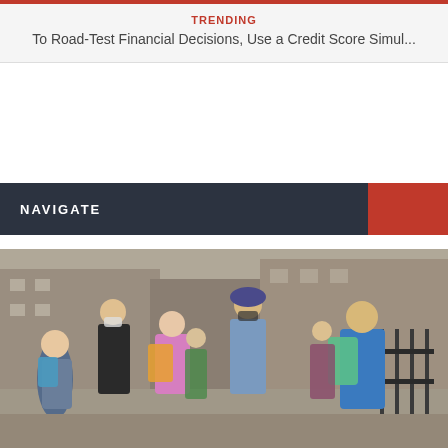TRENDING
To Road-Test Financial Decisions, Use a Credit Score Simul...
[Figure (photo): Group of children wearing backpacks and face masks walking into school, accompanied by adults, on a city sidewalk next to a wrought-iron fence.]
NAVIGATE